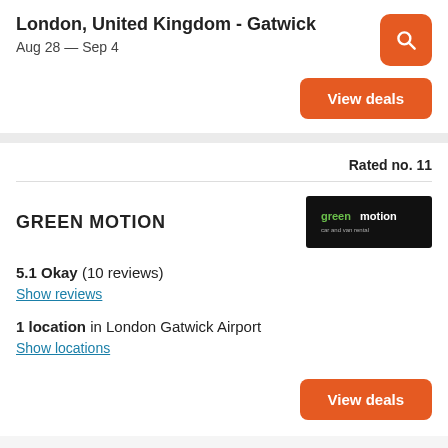London, United Kingdom - Gatwick
Aug 28 — Sep 4
View deals
Rated no. 11
GREEN MOTION
[Figure (logo): Green Motion car and van rental logo on black background]
5.1 Okay (10 reviews)
Show reviews
1 location in London Gatwick Airport
Show locations
View deals